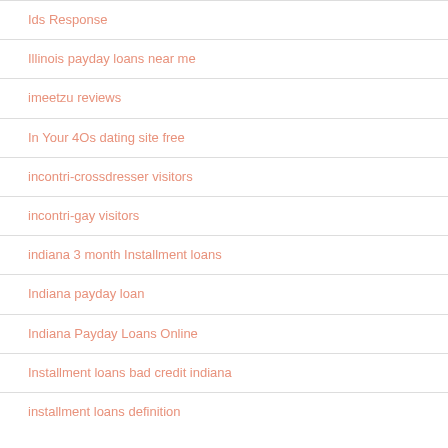Ids Response
Illinois payday loans near me
imeetzu reviews
In Your 4Os dating site free
incontri-crossdresser visitors
incontri-gay visitors
indiana 3 month Installment loans
Indiana payday loan
Indiana Payday Loans Online
Installment loans bad credit indiana
installment loans definition